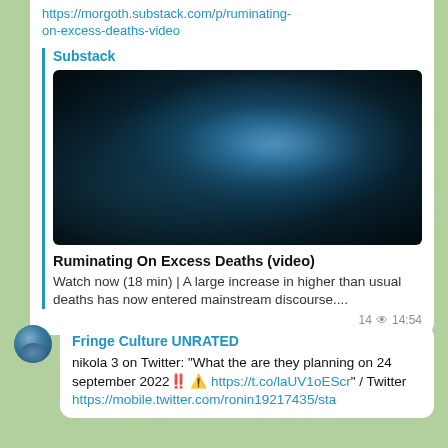https://morgoth.substack.com/p/ruminating-on-excess-deaths-video
Substack
[Figure (photo): Dark nebula/cloud atmospheric image used as article thumbnail]
Ruminating On Excess Deaths (video)
Watch now (18 min) | A large increase in higher than usual deaths has now entered mainstream discourse....
14 👁 14:54
Fringe Culture UNRATED
nikola 3 on Twitter: "What the are they planning on 24 september 2022‼️ ⚠️ https://t.co/laUV1oEScr" / Twitter https://mobile.twitter.com/ronin19217435/sta